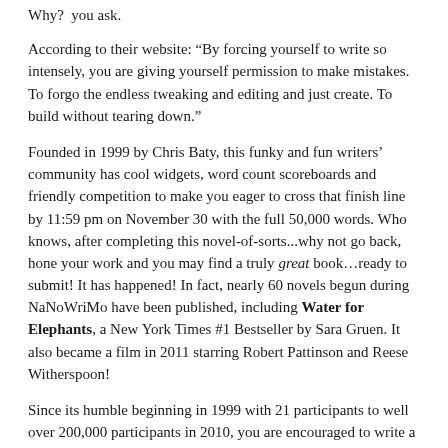Why?  you ask.
According to their website: “By forcing yourself to write so intensely, you are giving yourself permission to make mistakes. To forgo the endless tweaking and editing and just create. To build without tearing down.”
Founded in 1999 by Chris Baty, this funky and fun writers’ community has cool widgets, word count scoreboards and friendly competition to make you eager to cross that finish line by 11:59 pm on November 30 with the full 50,000 words. Who knows, after completing this novel-of-sorts...why not go back, hone your work and you may find a truly great book…ready to submit! It has happened! In fact, nearly 60 novels begun during NaNoWriMo have been published, including Water for Elephants, a New York Times #1 Bestseller by Sara Gruen. It also became a film in 2011 starring Robert Pattinson and Reese Witherspoon!
Since its humble beginning in 1999 with 21 participants to well over 200,000 participants in 2010, you are encouraged to write a novel in this one month’s time. Word counts are posted daily. Friendships are forged with others with similar interests. And if you complete your 50,000 words by the end of the month you can even get a cool winner’s certificate and web badge!
Sign up starts registration before November 1. Remember the